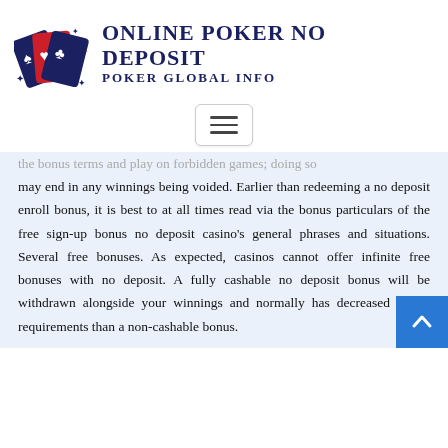[Figure (logo): Online Poker No Deposit website logo with playing cards (red and blue) and site name]
[Figure (other): Hamburger menu button (three horizontal lines) inside a rounded rectangle border]
the bonus terms and play on forbidden games; doing so may end in any winnings being voided. Earlier than redeeming a no deposit enroll bonus, it is best to at all times read via the bonus particulars of the free sign-up bonus no deposit casino's general phrases and situations. Several free bonuses. As expected, casinos cannot offer infinite free bonuses with no deposit. A fully cashable no deposit bonus will be withdrawn alongside your winnings and normally has decreased wa... requirements than a non-cashable bonus.